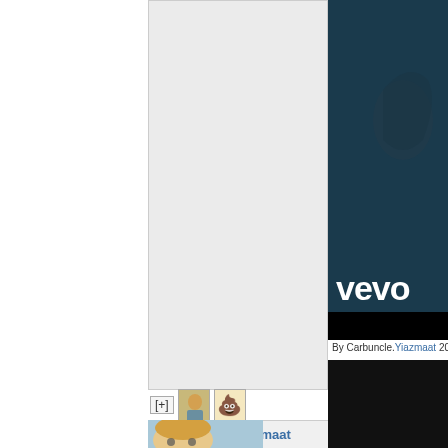[Figure (screenshot): Light gray panel on the left-center portion of the page, appears to be a web interface or sidebar area]
[Figure (screenshot): Video thumbnail with dark teal/navy background showing a figure and the white 'vevo' logo text at the bottom right]
[+]
[Figure (photo): Small thumbnail of a person with blonde hair]
[Figure (illustration): Small emoji icon of a pile of poop]
Carbuncle.Yiazmaat
By Carbuncle.Yiazmaat 202...
[Figure (illustration): Anime-style illustration of a blonde person with glasses touching their face]
[Figure (screenshot): Dark/black video thumbnail area]